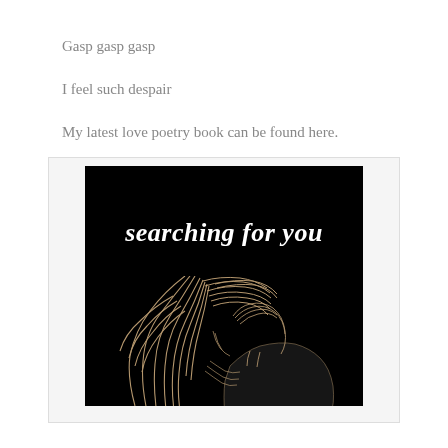Gasp gasp gasp
I feel such despair
My latest love poetry book can be found here.
[Figure (illustration): Book cover for 'searching for you' — black background with cursive white title text and a line-art illustration of two people embracing, rendered in warm beige/tan tones against the dark background.]